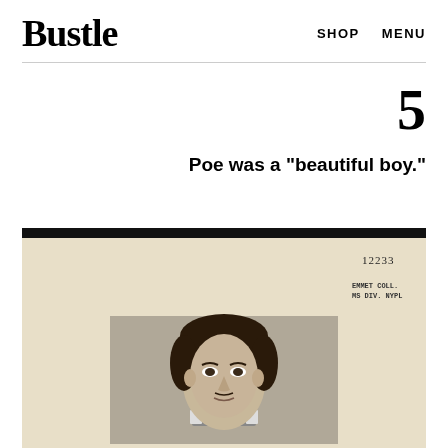Bustle    SHOP    MENU
5
Poe was a "beautiful boy."
[Figure (photo): Old book page showing the number 12233 and a stamp reading 'EMMET COLL. MS DIV. NYPL', with a vintage black-and-white portrait engraving of Edgar Allan Poe showing his face and upper body with dark curly hair.]